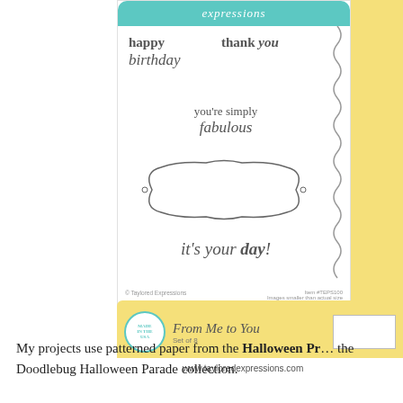[Figure (photo): Product image of Taylored Expressions stamp set called 'From Me to You', Set of 8. Shows stamp designs including 'happy birthday', 'thank you', 'you're simply fabulous', a decorative frame, and 'it's your day!' text stamps. Yellow label bar at bottom with 'Made in the USA' badge, cursive title, and barcode box. Item #TEPS100. Website: www.tayloredexpressions.com]
My projects use patterned paper from the Halloween Pr... the Doodlebug Halloween Parade collection.